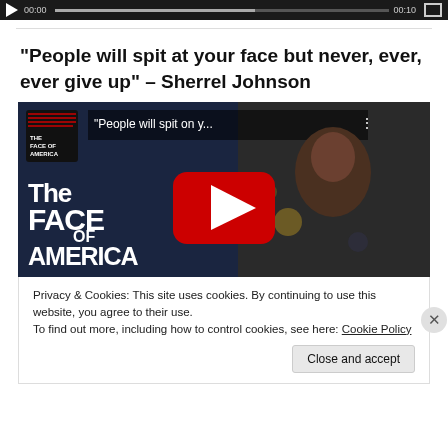[Figure (screenshot): Video player control bar showing play button, timestamp 00:00, progress bar, and fullscreen button on dark background]
“People will spit at your face but never, ever, ever give up” – Sherrel Johnson
[Figure (screenshot): YouTube video thumbnail showing 'The Face of America' program with a woman being interviewed, red YouTube play button in center, title 'People will spit on y...']
Privacy & Cookies: This site uses cookies. By continuing to use this website, you agree to their use.
To find out more, including how to control cookies, see here: Cookie Policy
Close and accept